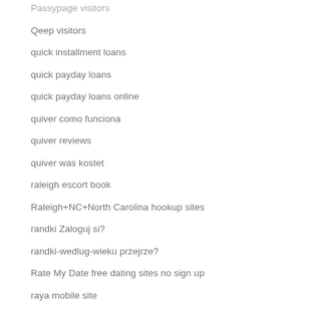Passypage visitors
Qeep visitors
quick installment loans
quick payday loans
quick payday loans online
quiver como funciona
quiver reviews
quiver was kostet
raleigh escort book
Raleigh+NC+North Carolina hookup sites
randki Zaloguj si?
randki-wedlug-wieku przejrze?
Rate My Date free dating sites no sign up
raya mobile site
Raya visitors